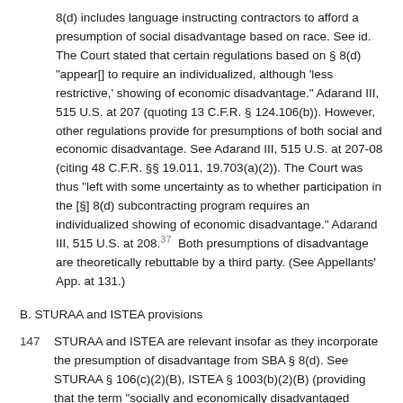8(d) includes language instructing contractors to afford a presumption of social disadvantage based on race. See id. The Court stated that certain regulations based on § 8(d) "appear[] to require an individualized, although 'less restrictive,' showing of economic disadvantage." Adarand III, 515 U.S. at 207 (quoting 13 C.F.R. § 124.106(b)). However, other regulations provide for presumptions of both social and economic disadvantage. See Adarand III, 515 U.S. at 207-08 (citing 48 C.F.R. §§ 19.011, 19.703(a)(2)). The Court was thus "left with some uncertainty as to whether participation in the [§] 8(d) subcontracting program requires an individualized showing of economic disadvantage." Adarand III, 515 U.S. at 208.37 Both presumptions of disadvantage are theoretically rebuttable by a third party. (See Appellants' App. at 131.)
B. STURAA and ISTEA provisions
147 STURAA and ISTEA are relevant insofar as they incorporate the presumption of disadvantage from SBA § 8(d). See STURAA § 106(c)(2)(B), ISTEA § 1003(b)(2)(B) (providing that the term "socially and economically disadvantaged individual" has the meaning of such term under SBA § 8(d) "and relevant subcontracting regulations